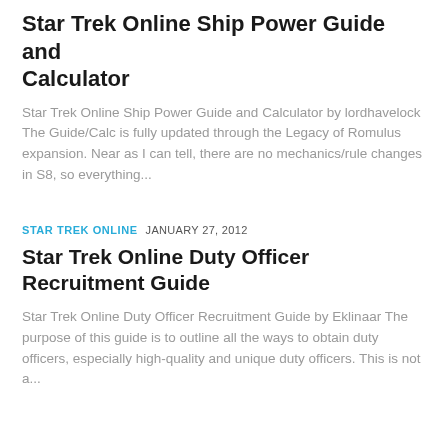Star Trek Online Ship Power Guide and Calculator
Star Trek Online Ship Power Guide and Calculator by lordhavelock The Guide/Calc is fully updated through the Legacy of Romulus expansion. Near as I can tell, there are no mechanics/rule changes in S8, so everything...
STAR TREK ONLINE  JANUARY 27, 2012
Star Trek Online Duty Officer Recruitment Guide
Star Trek Online Duty Officer Recruitment Guide by Eklinaar The purpose of this guide is to outline all the ways to obtain duty officers, especially high-quality and unique duty officers. This is not a...